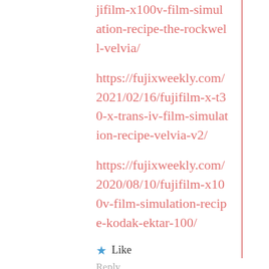jifilm-x100v-film-simulation-recipe-the-rockwell-velvia/
https://fujixweekly.com/2021/02/16/fujifilm-x-t30-x-trans-iv-film-simulation-recipe-velvia-v2/
https://fujixweekly.com/2020/08/10/fujifilm-x100v-film-simulation-recipe-kodak-ektar-100/
Like
Reply
Advertisements
[Figure (screenshot): Advertisement banner for WordPress Hosting with a P logo and OPEN sign image]